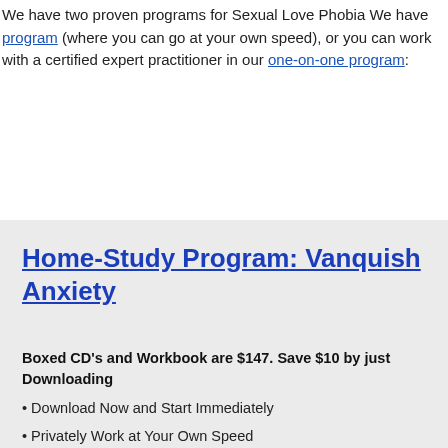We have two proven programs for Sexual Love Phobia We have a [self-study program] (where you can go at your own speed), or you can work with a certified expert practitioner in our [one-on-one program]:
Home-Study Program: Vanquish Anxiety
Boxed CD's and Workbook are $147. Save $10 by just Downloading
Download Now and Start Immediately
Privately Work at Your Own Speed
One-on-One 'VIP' Program